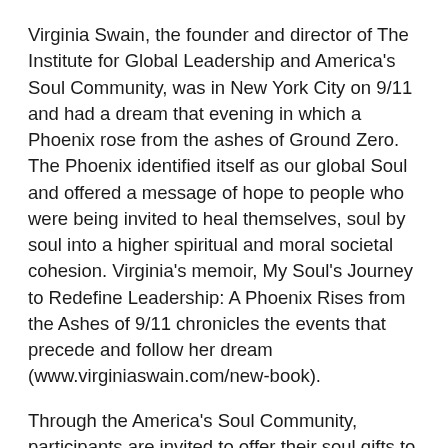Virginia Swain, the founder and director of The Institute for Global Leadership and America's Soul Community, was in New York City on 9/11 and had a dream that evening in which a Phoenix rose from the ashes of Ground Zero. The Phoenix identified itself as our global Soul and offered a message of hope to people who were being invited to heal themselves, soul by soul into a higher spiritual and moral societal cohesion. Virginia's memoir, My Soul's Journey to Redefine Leadership: A Phoenix Rises from the Ashes of 9/11 chronicles the events that precede and follow her dream (www.virginiaswain.com/new-book).
Through the America's Soul Community, participants are invited to offer their soul gifts to the Phoenix, show their commitment to heal America and enact H.R. 6843.
These workshops are intended to support a new American leadership in a chaotic time. We need to regain the spiritual and moral essence for ourselves and for America.